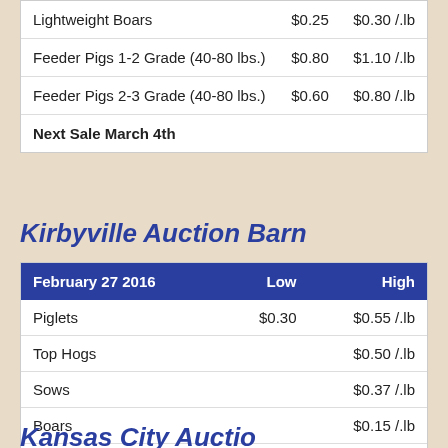|  | Low | High |
| --- | --- | --- |
| Lightweight Boars | $0.25 | $0.30 /.lb |
| Feeder Pigs 1-2 Grade (40-80 lbs.) | $0.80 | $1.10 /.lb |
| Feeder Pigs 2-3 Grade (40-80 lbs.) | $0.60 | $0.80 /.lb |
| Next Sale March 4th |  |  |
Kirbyville Auction Barn
| February 27 2016 | Low | High |
| --- | --- | --- |
| Piglets | $0.30 | $0.55 /.lb |
| Top Hogs |  | $0.50 /.lb |
| Sows |  | $0.37 /.lb |
| Boars |  | $0.15 /.lb |
| Next Sale March 5th |  |  |
Kansas City Auction